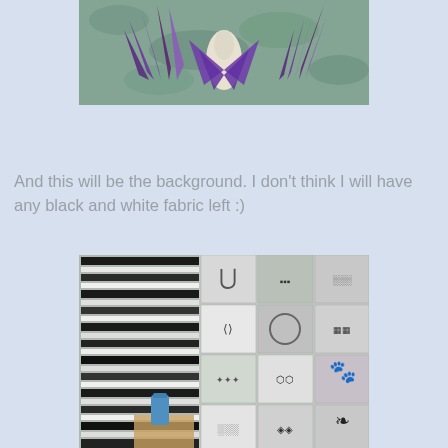[Figure (photo): Partial view of a purple fabric bird/phoenix quilt block on a mottled teal/gray background fabric. The bird shape has purple and violet fabric pieces arranged like wings and feathers.]
And this will be the background. I don't think I will have any black and white fabric left :)
[Figure (photo): A quilt layout spread out on a surface showing many black and white patterned fabric squares in various geometric and abstract prints, arranged in a patchwork grid. A bottle of glue/spray is visible on a table in the lower left.]